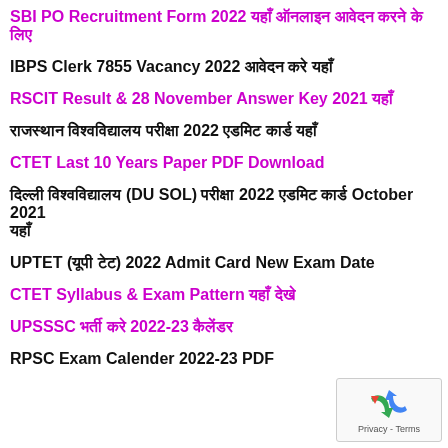SBI PO Recruitment Form 2022 यहाँ ऑनलाइन आवेदन करने के लिए
IBPS Clerk 7855 Vacancy 2022 आवेदन करे यहाँ
RSCIT Result & 28 November Answer Key 2021 यहाँ
राजस्थान विश्वविद्यालय परीक्षा 2022 एडमिट कार्ड यहाँ
CTET Last 10 Years Paper PDF Download
दिल्ली विश्वविद्यालय (DU SOL) परीक्षा 2022 एडमिट कार्ड October 2021 यहाँ
UPTET (यूपी टेट) 2022 Admit Card New Exam Date
CTET Syllabus & Exam Pattern यहाँ देखे
UPSSSC भर्ती करे 2022-23 कैलेंडर
RPSC Exam Calender 2022-23 PDF
[Figure (other): reCAPTCHA privacy widget with recycling arrow icon and Privacy - Terms text]